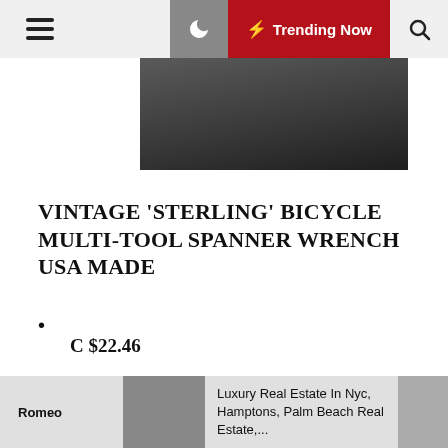⚡ Trending Now
[Figure (photo): Partial photo of a vintage bicycle multi-tool spanner wrench on a dark background]
VINTAGE 'STERLING' BICYCLE MULTI-TOOL SPANNER WRENCH USA MADE
C $22.46
or Best Offer
Romeo  Luxury Real Estate In Nyc, Hamptons, Palm Beach Real Estate,...